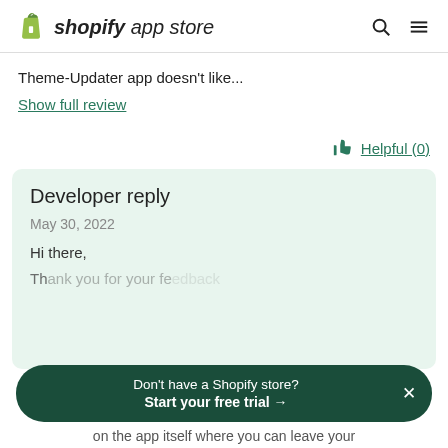shopify app store
Theme-Updater app doesn't like...
Show full review
Helpful (0)
Developer reply
May 30, 2022
Hi there,
Don't have a Shopify store? Start your free trial →